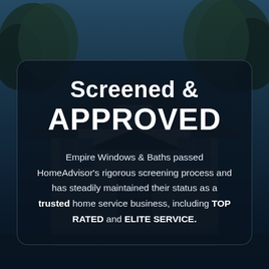[Figure (photo): Background photo of a large residential house with trees and blue sky, overlaid with a dark blue tint]
Screened & APPROVED
Empire Windows & Baths passed HomeAdvisor's rigorous screening process and has steadily maintained their status as a trusted home service business, including TOP RATED and ELITE SERVICE.